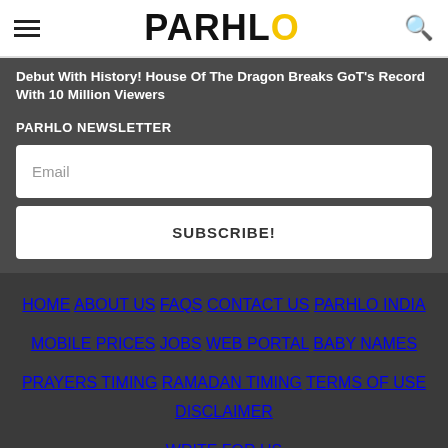PARHLO
Debut With History! House Of The Dragon Breaks GoT's Record With 10 Million Viewers
PARHLO NEWSLETTER
Email
SUBSCRIBE!
HOME  ABOUT US  FAQS  CONTACT US  PARHLO INDIA  MOBILE PRICES  JOBS  WEB PORTAL  BABY NAMES  PRAYERS TIMING  RAMADAN TIMING  TERMS OF USE  DISCLAIMER  WRITE FOR US
Parhlo © 2014-2021. All rights reserved.